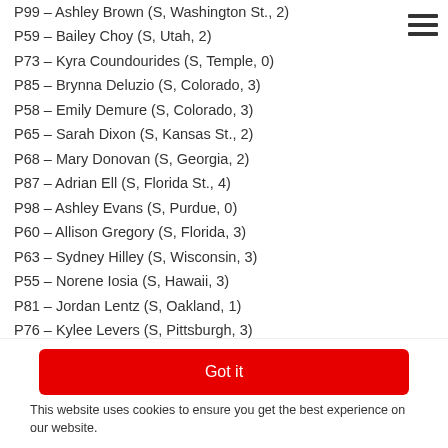P99 – Ashley Brown (S, Washington St., 2)
P59 – Bailey Choy (S, Utah, 2)
P73 – Kyra Coundourides (S, Temple, 0)
P85 – Brynna Deluzio (S, Colorado, 3)
P58 – Emily Demure (S, Colorado, 3)
P65 – Sarah Dixon (S, Kansas St., 2)
P68 – Mary Donovan (S, Georgia, 2)
P87 – Adrian Ell (S, Florida St., 4)
P98 – Ashley Evans (S, Purdue, 0)
P60 – Allison Gregory (S, Florida, 3)
P63 – Sydney Hilley (S, Wisconsin, 3)
P55 – Norene Iosia (S, Hawaii, 3)
P81 – Jordan Lentz (S, Oakland, 1)
P76 – Kylee Levers (S, Pittsburgh, 3)
D71 – Madison Lilley (S, Kentucky, 2)
Got it
This website uses cookies to ensure you get the best experience on our website.